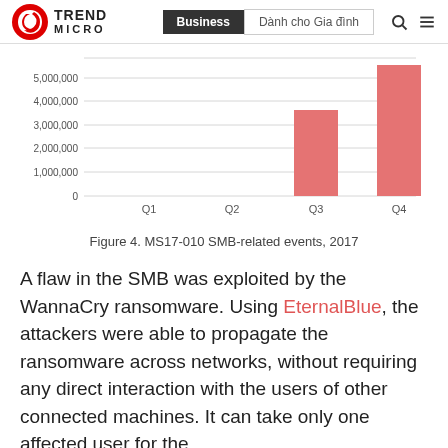Trend Micro | Business | Dành cho Gia đình
[Figure (bar-chart): MS17-010 SMB-related events, 2017]
Figure 4. MS17-010 SMB-related events, 2017
A flaw in the SMB was exploited by the WannaCry ransomware. Using EternalBlue, the attackers were able to propagate the ransomware across networks, without requiring any direct interaction with the users of other connected machines. It can take only one affected user for the